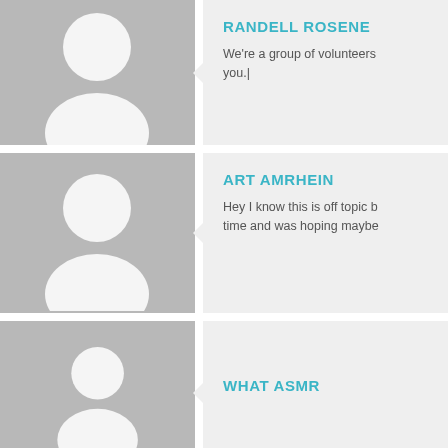[Figure (illustration): Default avatar placeholder silhouette (head and shoulders) on grey background, row 1]
RANDELL ROSENE
We're a group of volunteers you.|
[Figure (illustration): Default avatar placeholder silhouette (head and shoulders) on grey background, row 2]
ART AMRHEIN
Hey I know this is off topic b time and was hoping maybe
[Figure (illustration): Default avatar placeholder silhouette (head and shoulders) on grey background, row 3]
WHAT ASMR